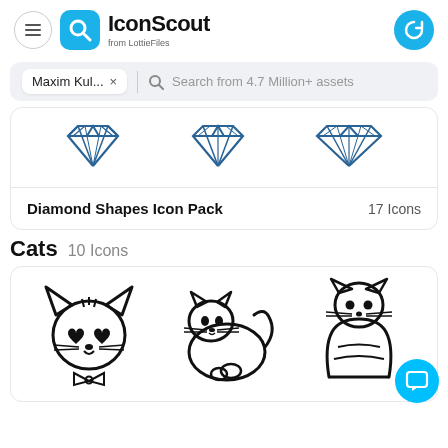[Figure (screenshot): IconScout website screenshot showing header with logo, search bar with 'Maxim Kul...' chip, diamond shapes icon pack card with 17 icons, and Cats icon pack with 10 icons showing three cat icons]
IconScout from LottieFiles
Maxim Kul...  Search from 4.7 Million+ assets
Diamond Shapes Icon Pack   17 Icons
Cats  10 Icons